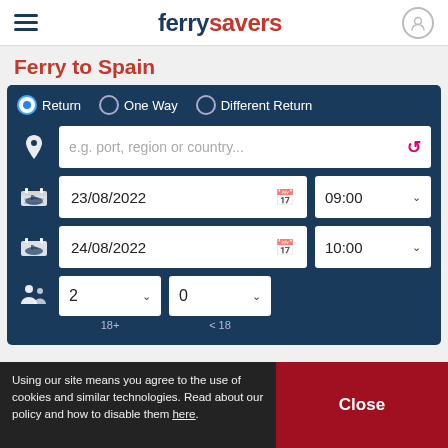ferrysavers
Ferry to Spain
[Figure (screenshot): Ferry booking search form with Return/One Way/Different Return radio buttons, origin/destination text field, outbound date 23/08/2022 at 09:00, return date 24/08/2022 at 10:00, and passenger selector showing 2 adults (18+) and 0 children (<18)]
Using our site means you agree to the use of cookies and similar technologies. Read about our policy and how to disable them here.